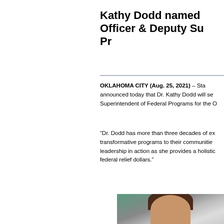Kathy Dodd named Chief Officer & Deputy Superintendent of Federal Programs for the Oklahoma State Department of Education
OKLAHOMA CITY (Aug. 25, 2021) – State Superintendent announced today that Dr. Kathy Dodd will serve as Deputy Superintendent of Federal Programs for the Oklahoma State Department of Education.
“Dr. Dodd has more than three decades of experience bringing transformative programs to their communities. We will see her leadership in action as she provides a holistic vision for our federal relief dollars.”
[Figure (photo): Headshot photo of Dr. Kathy Dodd, a woman with dark brown hair, photographed outdoors in front of a glass building.]